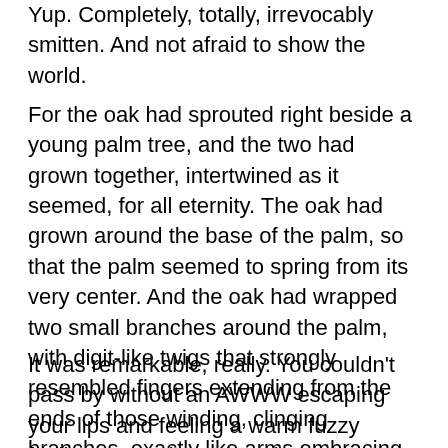Yup. Completely, totally, irrevocably smitten. And not afraid to show the world.
For the oak had sprouted right beside a young palm tree, and the two had grown together, intertwined as it seemed, for all eternity. The oak had grown around the base of the palm, so that the palm seemed to spring from its very center. And the oak had wrapped two small branches around the palm, with digit-like twigs that strongly resembled fingers extending from the ends of those winding, clinging branches, exactly like arms embracing a lover.
It was remarkable, really. You couldn't pass by without an AWWW escaping your lips and feeling a warm fuzzy feeling somewhere deep in your innards. It was their lasting and it was a beautiful